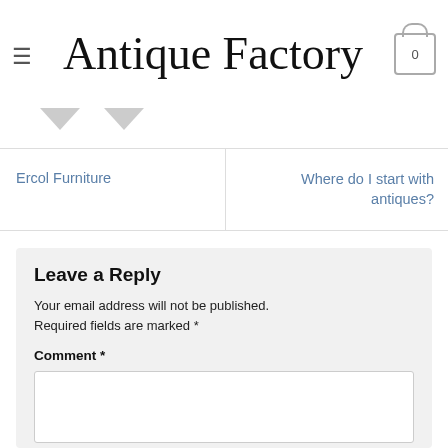Antique Factory
Ercol Furniture
Where do I start with antiques?
Leave a Reply
Your email address will not be published. Required fields are marked *
Comment *